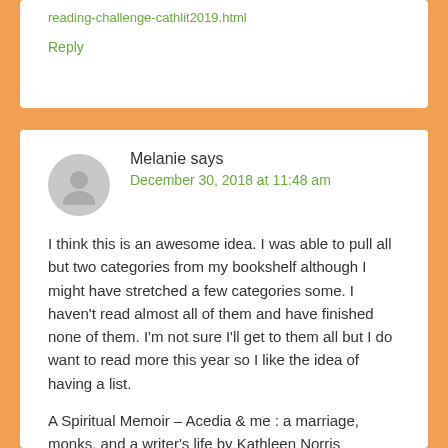reading-challenge-cathlit2019.html
Reply
Melanie says
December 30, 2018 at 11:48 am
I think this is an awesome idea. I was able to pull all but two categories from my bookshelf although I might have stretched a few categories some. I haven't read almost all of them and have finished none of them. I'm not sure I'll get to them all but I do want to read more this year so I like the idea of having a list.
A Spiritual Memoir – Acedia & me : a marriage, monks, and a writer's life by Kathleen Norris